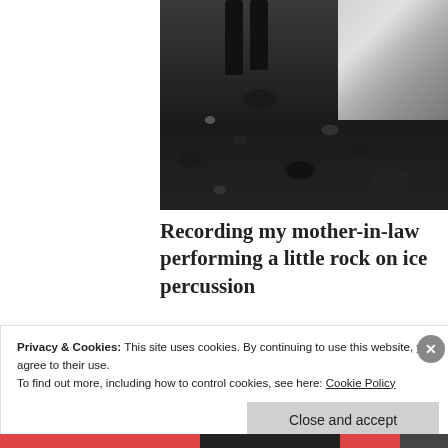[Figure (photo): Photo of a person's legs and feet standing on a rocky/pebbly beach with water splash or ice nearby. Dark rocks visible. Cropped view showing only lower body.]
Recording my mother-in-law performing a little rock on ice percussion
Privacy & Cookies: This site uses cookies. By continuing to use this website, you agree to their use.
To find out more, including how to control cookies, see here: Cookie Policy
Close and accept